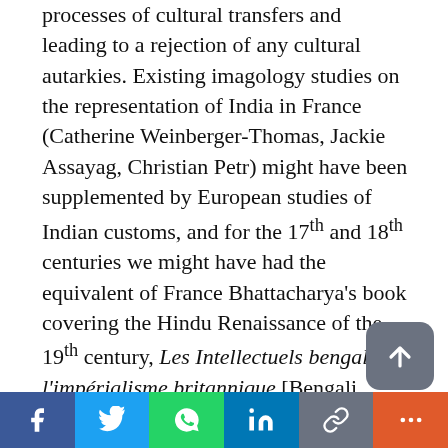processes of cultural transfers and leading to a rejection of any cultural autarkies. Existing imagology studies on the representation of India in France (Catherine Weinberger-Thomas, Jackie Assayag, Christian Petr) might have been supplemented by European studies of Indian customs, and for the 17th and 18th centuries we might have had the equivalent of France Bhattacharya's book covering the Hindu Renaissance of the 19th century, Les Intellectuels bengalis et l'impérialisme britannique [Bengali Intellectuals and British Imperialism] (Paris, Collège de
[Figure (other): Scroll-to-top button: dark grey rounded rectangle with upward arrow icon]
Social share bar with Facebook, Twitter, WhatsApp, LinkedIn, Link, and More buttons